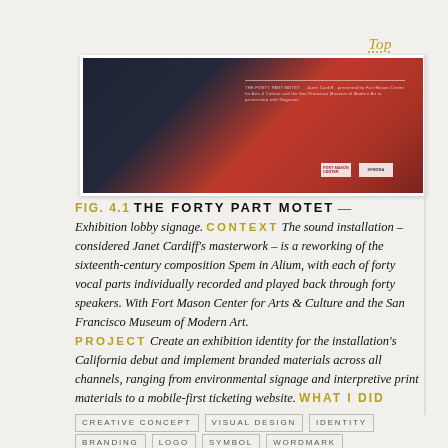Top
[Figure (photo): Exhibition lobby signage photo showing a dark navy and red wall with white text and logos for The Forty Part Motet and a partner organization.]
FIG. 4.1 THE FORTY PART MOTET — Exhibition lobby signage.
CONTEXT The sound installation – considered Janet Cardiff's masterwork – is a reworking of the sixteenth-century composition Spem in Alium, with each of forty vocal parts individually recorded and played back through forty speakers. With Fort Mason Center for Arts & Culture and the San Francisco Museum of Modern Art. PROJECT Create an exhibition identity for the installation's California debut and implement branded materials across all channels, ranging from environmental signage and interpretive print materials to a mobile-first ticketing website. WHAT I DID
CREATIVE CONCEPT
VISUAL DESIGN
IDENTITY
BRANDING
LOGO
SYMBOL
WORDMARK